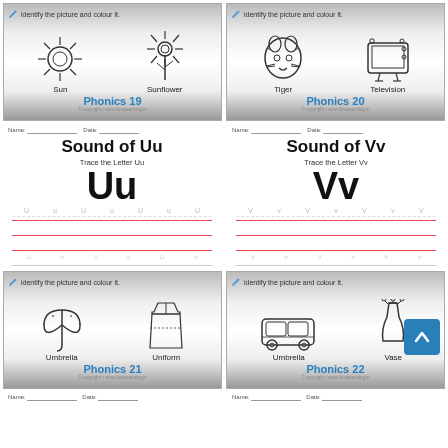[Figure (illustration): Phonics card 19: Sun and Sunflower line drawings with text 'identify the picture and colour it.' Label reads 'Phonics 19']
[Figure (illustration): Phonics card 20: Tiger and Television line drawings with text 'identify the picture and colour it.' Label reads 'Phonics 20']
Sound of Uu
Trace the Letter Uu
Uu
Sound of Vv
Trace the Letter Vv
Vv
[Figure (illustration): Phonics card 21: Umbrella and Uniform line drawings with text 'identify the picture and colour it.' Label reads 'Phonics 21']
[Figure (illustration): Phonics card 22: Van and Vase line drawings with text 'identify the picture and colour it.' Label reads 'Phonics 22']
Name: ___ Date: ___
Name: ___ Date: ___